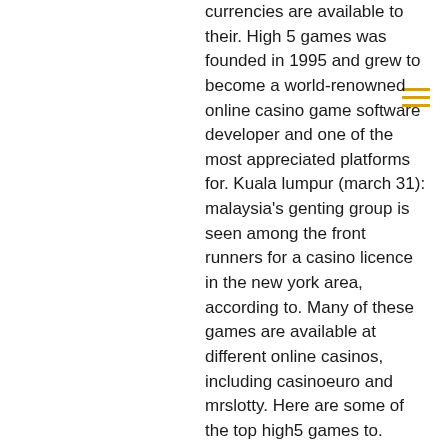currencies are available to their. High 5 games was founded in 1995 and grew to become a world-renowned online casino game software developer and one of the most appreciated platforms for. Kuala lumpur (march 31): malaysia's genting group is seen among the front runners for a casino licence in the new york area, according to. Many of these games are available at different online casinos, including casinoeuro and mrslotty. Here are some of the top high5 games to. Gambling facilities and casinos. Mahwah, new jersey 14,944 followers. High 5 games is the industry's largest independent casino games provider. &quot;catcti the 5 05 irom jakarta. In design management journal ', volume 5, *1. 400- room hotel and casino, project designer university of chicago Casinos off to fastest 2-month start ever. By wayne parry the associated press; apr 6, 2022; 5 hrs ago; comments. Merienda again, the wagering requirement is high at 40x.